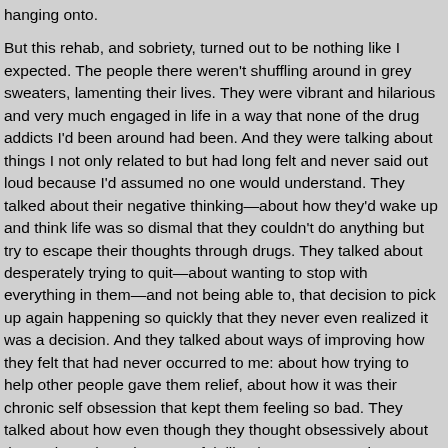hanging onto.

But this rehab, and sobriety, turned out to be nothing like I expected. The people there weren't shuffling around in grey sweaters, lamenting their lives. They were vibrant and hilarious and very much engaged in life in a way that none of the drug addicts I'd been around had been. And they were talking about things I not only related to but had long felt and never said out loud because I'd assumed no one would understand. They talked about their negative thinking—about how they'd wake up and think life was so dismal that they couldn't do anything but try to escape their thoughts through drugs. They talked about desperately trying to quit—about wanting to stop with everything in them—and not being able to, that decision to pick up again happening so quickly that they never even realized it was a decision. And they talked about ways of improving how they felt that had never occurred to me: about how trying to help other people gave them relief, about how it was their chronic self obsession that kept them feeling so bad. They talked about how even though they thought obsessively about themselves, they also never felt like they were enough; I learned the expression that had summarized the previous three decades of my life: "I'm the piece of crap in the center of the universe."